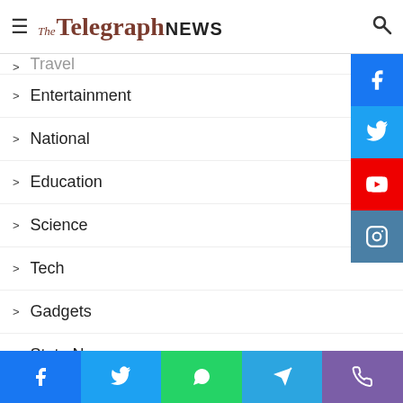The Telegraph NEWS
Entertainment 158
National 109
Education
Science
Tech
Gadgets
State News
Sports
Fashion & Beauty 29
Social Work 27
Finance/Money
Facebook Twitter WhatsApp Telegram Phone